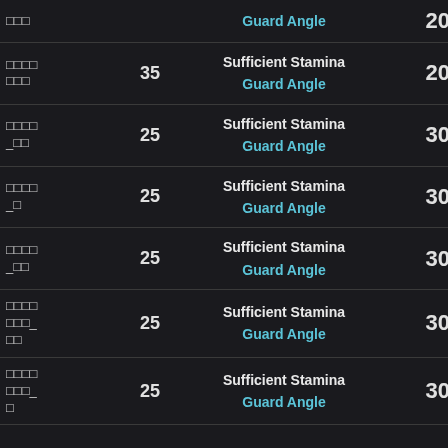| Name | Level | Skills | Value |
| --- | --- | --- | --- |
| □□□ | 35 | Guard Angle | 20 |
| □□□□ □□□ | 35 | Sufficient Stamina / Guard Angle | 20 |
| □□□□ _□□ | 25 | Sufficient Stamina / Guard Angle | 30 |
| □□□□ _□ | 25 | Sufficient Stamina / Guard Angle | 30 |
| □□□□ _□□ | 25 | Sufficient Stamina / Guard Angle | 30 |
| □□□□ □□□_ □□ | 25 | Sufficient Stamina / Guard Angle | 30 |
| □□□□ □□□_ □ | 25 | Sufficient Stamina / Guard Angle | 30 |